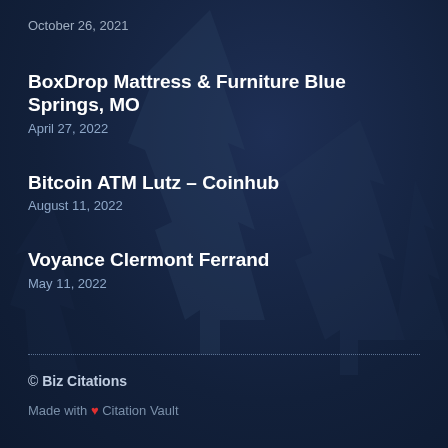October 26, 2021
BoxDrop Mattress & Furniture Blue Springs, MO
April 27, 2022
Bitcoin ATM Lutz – Coinhub
August 11, 2022
Voyance Clermont Ferrand
May 11, 2022
© Biz Citations
Made with ❤ Citation Vault